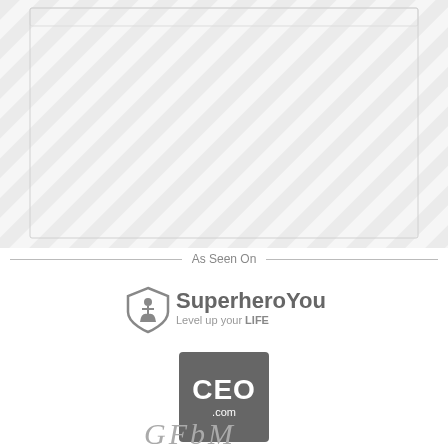[Figure (illustration): Diagonal stripe pattern background (light gray stripes on white/light gray)]
As Seen On
[Figure (logo): SuperheroYou logo with shield icon and text 'SuperheroYou Level up your LIFE']
[Figure (logo): CEO.com logo — dark gray square with 'CEO' in large white bold text and '.com' below]
[Figure (logo): Handwritten-style text logo partially visible, appears to read 'GFBM' or similar]